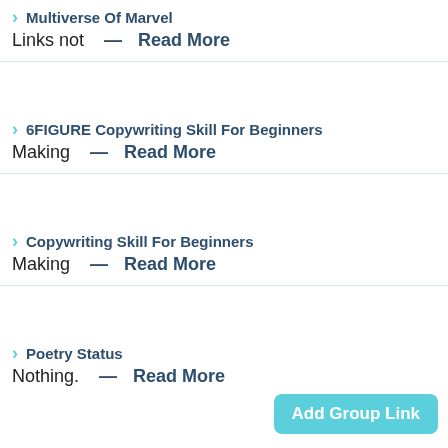> Multiverse Of Marvel
Links not — Read More
> 6FIGURE Copywriting Skill For Beginners
Making — Read More
> Copywriting Skill For Beginners
Making — Read More
> Poetry Status
Nothing. — Read More